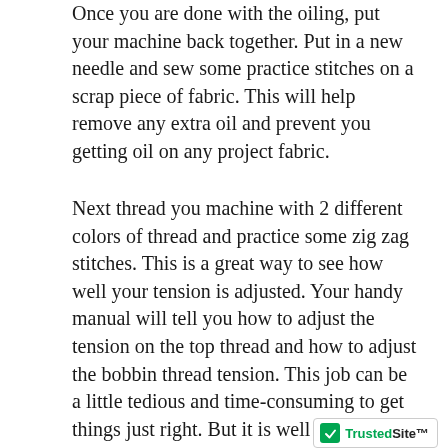Once you are done with the oiling, put your machine back together. Put in a new needle and sew some practice stitches on a scrap piece of fabric. This will help remove any extra oil and prevent you getting oil on any project fabric.
Next thread you machine with 2 different colors of thread and practice some zig zag stitches. This is a great way to see how well your tension is adjusted. Your handy manual will tell you how to adjust the tension on the top thread and how to adjust the bobbin thread tension. This job can be a little tedious and time-consuming to get things just right. But it is well worth your time. Having a clean machine, the tension adjusted properly, a new needle and using the right needle and thread for the type of fabric will keep you from the frustration of thread balling up under your machine. This will also keep your stitches even, not skipping stitches and make your work look more professional.